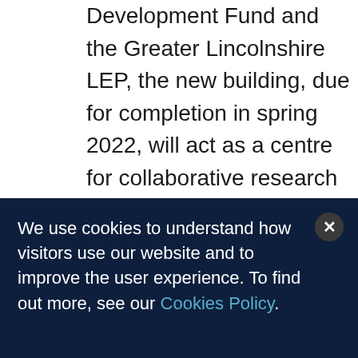Development Fund and the Greater Lincolnshire LEP, the new building, due for completion in spring 2022, will act as a centre for collaborative research and development between business and industry partners and the University of Lincoln.
The concept has been co-developed with a working group of industry-based scientists and with engagement from a consortium of more
We use cookies to understand how visitors use our website and to improve the user experience. To find out more, see our Cookies Policy.